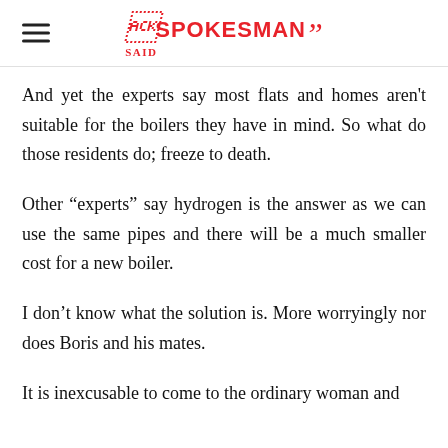A Spokesman Said
And yet the experts say most flats and homes aren't suitable for the boilers they have in mind. So what do those residents do; freeze to death.
Other “experts” say hydrogen is the answer as we can use the same pipes and there will be a much smaller cost for a new boiler.
I don’t know what the solution is. More worryingly nor does Boris and his mates.
It is inexcusable to come to the ordinary woman and